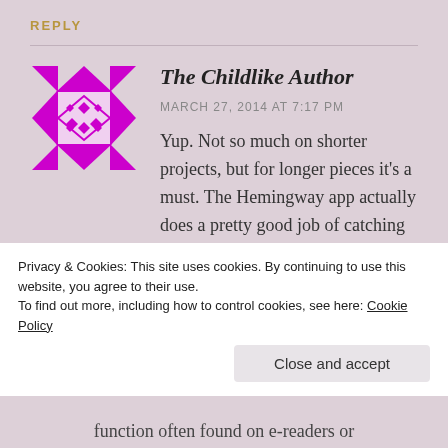REPLY
[Figure (logo): Purple geometric/quilt pattern avatar icon for The Childlike Author]
The Childlike Author
MARCH 27, 2014 AT 7:17 PM
Yup. Not so much on shorter projects, but for longer pieces it's a must. The Hemingway app actually does a pretty good job of catching the
Privacy & Cookies: This site uses cookies. By continuing to use this website, you agree to their use.
To find out more, including how to control cookies, see here: Cookie Policy
Close and accept
function often found on e-readers or